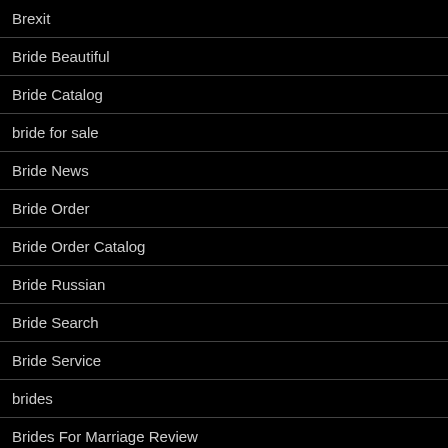Brexit
Bride Beautiful
Bride Catalog
bride for sale
Bride News
Bride Order
Bride Order Catalog
Bride Russian
Bride Search
Bride Service
brides
Brides For Marriage Review
Brides For Sale